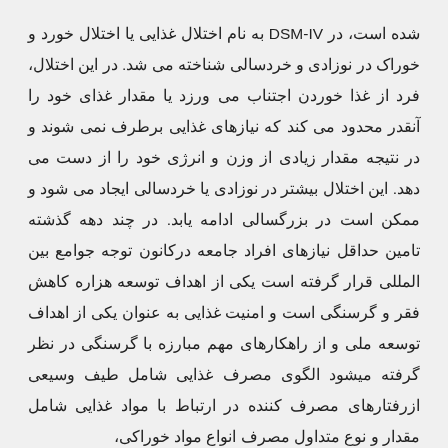شده است، در DSM-IV به نام اختلال غذایی یا اختلال خورد و خوراک در نوزادی و خردسالی شناخته می شد. در این اختلال، فرد از غذا خوردن اجتناب می ورزد یا مقدار غذای خود را آنقدر محدود می کند که نیازهای غذایی برطرف نمی شوند و در نتیجه مقدار زیادی از وزن و انرژی خود را از دست می دهد. این اختلال بیشتر در نوزادی یا خردسالی ایجاد می شود و ممکن است در بزرگسالی ادامه یابد. در چند دهه گذشته تامین حداقل نیازهای افراد جامعه درکانون توجه جوامع بین المللی قرار گرفته است یکی از اهداف توسعه هزاره کاهش فقر و گرسنگی است و امنیت غذایی به عنوان یکی از اهداف توسعه ملی و از راهکارهای مهم مبارزه با گرسنگی در نظر گرفته میشود الگوی مصرف غذایی شامل طیف وسیعی ازرفتارهای مصرف کننده در ارتباط با مواد غذایی شامل مقدار و نوع متداول مصرف انواع مواد خوراکی،